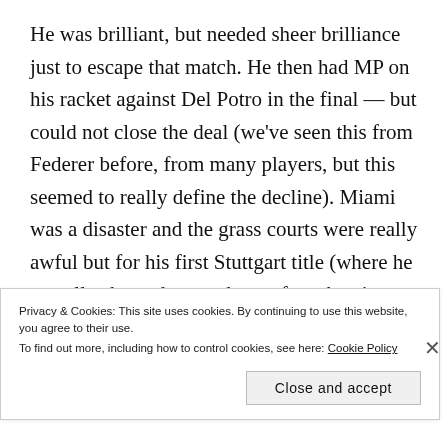He was brilliant, but needed sheer brilliance just to escape that match. He then had MP on his racket against Del Potro in the final — but could not close the deal (we've seen this from Federer before, from many players, but this seemed to really define the decline). Miami was a disaster and the grass courts were really awful but for his first Stuttgart title (where he actually showed some decent form beating Kyrgios — who likes to play Roger — and Raonic) indeed. Halle and
Privacy & Cookies: This site uses cookies. By continuing to use this website, you agree to their use.
To find out more, including how to control cookies, see here: Cookie Policy
Close and accept